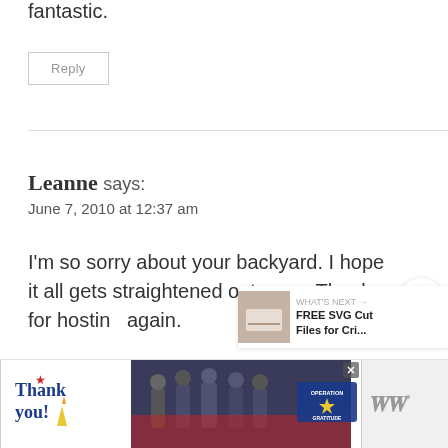fantastic.
Reply
Leanne says:
June 7, 2010 at 12:37 am
I'm so sorry about your backyard. I hope it all gets straightened out soon. Thanks for hosting again.
Reply
[Figure (infographic): Advertisement banner showing 'Thank you!' with Operation Gratitude imagery featuring firefighters and patriotic design, with a WW logo badge on the right.]